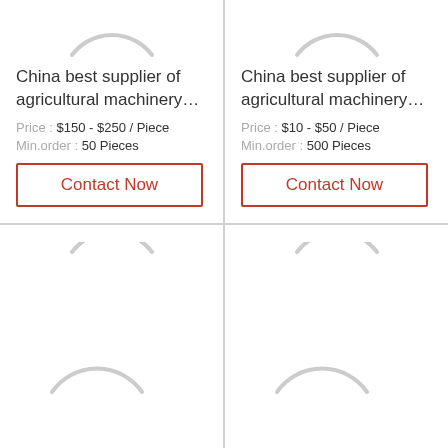[Figure (illustration): Loading spinner arc (top-left card, upper arc)]
China best supplier of agricultural machinery…
Price : $150 - $250 / Piece
Min.order : 50 Pieces
Contact Now
[Figure (illustration): Loading spinner arc (top-right card, upper arc)]
China best supplier of agricultural machinery…
Price : $10 - $50 / Piece
Min.order : 500 Pieces
Contact Now
[Figure (illustration): Loading spinner arcs (bottom-left card)]
[Figure (illustration): Loading spinner arcs (bottom-right card)]